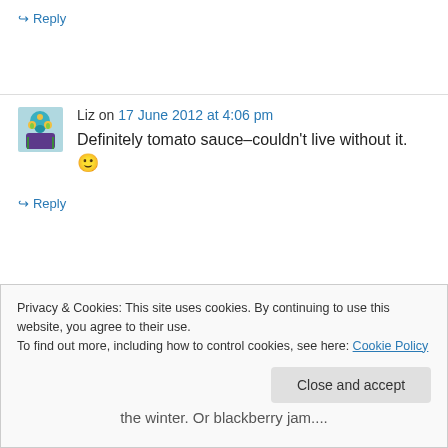↪ Reply
Liz on 17 June 2012 at 4:06 pm
Definitely tomato sauce–couldn't live without it. 🙂
↪ Reply
Privacy & Cookies: This site uses cookies. By continuing to use this website, you agree to their use.
To find out more, including how to control cookies, see here: Cookie Policy
Close and accept
the winter. Or blackberry jam....